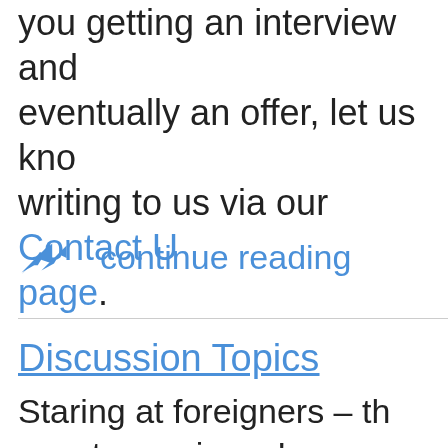our posted job vacancies for you getting an interview and eventually an offer, let us know writing to us via our Contact Us page.
continue reading
Discussion Topics
Staring at foreigners – the expat experience!